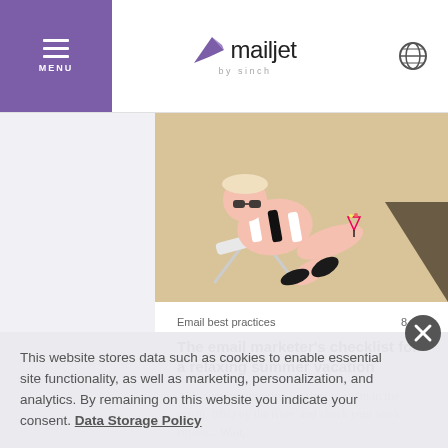MENU | mailjet by sinch
[Figure (illustration): Illustration of a person relaxing in a beach chair, wearing black and white striped clothing, on a sandy background with a dark triangular shape in the corner]
Email best practices    8 min
The email marketer's checklist for a relaxing summer vacation
Ahh, summer vacation – a time to swim in the ocean, BBQ by the river, and check your work emails... Wait,...
This website stores data such as cookies to enable essential site functionality, as well as marketing, personalization, and analytics. By remaining on this website you indicate your consent. Data Storage Policy